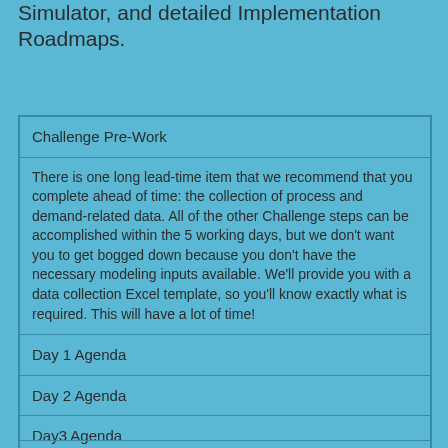Simulator, and detailed Implementation Roadmaps.
| Challenge Pre-Work |
| There is one long lead-time item that we recommend that you complete ahead of time: the collection of process and demand-related data. All of the other Challenge steps can be accomplished within the 5 working days, but we don't want you to get bogged down because you don't have the necessary modeling inputs available. We'll provide you with a data collection Excel template, so you'll know exactly what is required. This will have a lot of time! |
| Day 1 Agenda |
| Day 2 Agenda |
| Day3 Agenda |
| Day 4 Agenda |
| Day 5 Agenda |